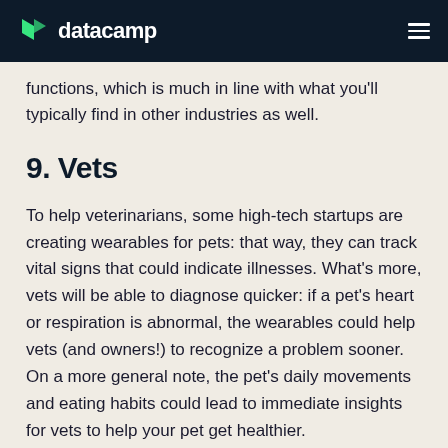datacamp
functions, which is much in line with what you'll typically find in other industries as well.
9. Vets
To help veterinarians, some high-tech startups are creating wearables for pets: that way, they can track vital signs that could indicate illnesses. What's more, vets will be able to diagnose quicker: if a pet's heart or respiration is abnormal, the wearables could help vets (and owners!) to recognize a problem sooner. On a more general note, the pet's daily movements and eating habits could lead to immediate insights for vets to help your pet get healthier.